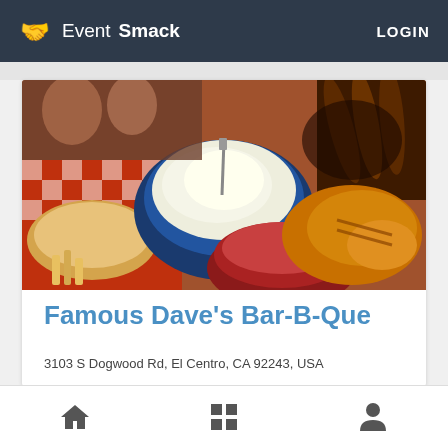EventSmack | LOGIN
[Figure (photo): A top-down photo of BBQ food spread: cornbread, fries on checkered paper, a blue bowl of coleslaw with a fork, ribs with dark glaze, baked beans in a round bowl, and grilled chicken pieces]
Famous Dave's Bar-B-Que
3103 S Dogwood Rd, El Centro, CA 92243, USA
VIEW
Home | Grid | Profile